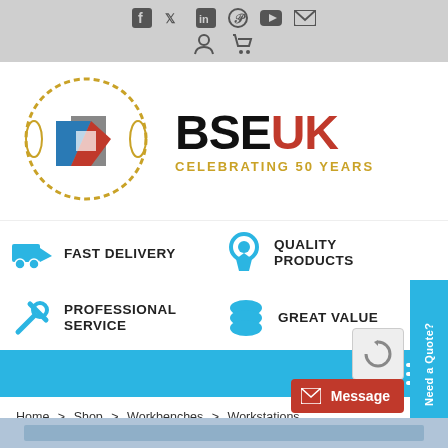Social media icons and navigation icons (Facebook, Twitter, LinkedIn, Pinterest, YouTube, Email, Account, Cart)
[Figure (logo): BSE UK logo with geometric B icon in blue/red/grey and gold laurel wreath, text BSE in black UK in red, subtitle CELEBRATING 50 YEARS in gold]
FAST DELIVERY
QUALITY PRODUCTS
PROFESSIONAL SERVICE
GREAT VALUE
Home > Shop > Workbenches > Workstations > Half Undershelf Workstation With MFC Tops